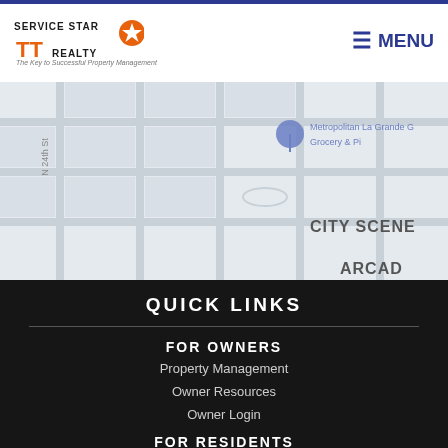Service Star Realty — The Key to Successful Property Management | MENU
[Figure (map): Partial Google Maps street map showing CITY SCENE label and Metropolitan/La Grande Grocery & Pi... location marker, with street grid visible]
QUICK LINKS
FOR OWNERS
Property Management
Owner Resources
Owner Login
FOR RESIDENTS
Homes for Rent